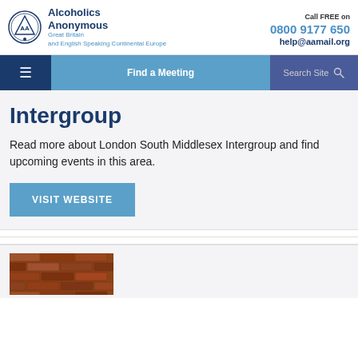Alcoholics Anonymous Great Britain and English Speaking Continental Europe | Call FREE on 0800 9177 650 | help@aamail.org
Find a Meeting | Search Site
Intergroup
Read more about London South Middlesex Intergroup and find upcoming events in this area.
VISIT WEBSITE
[Figure (photo): Brick wall photo at the bottom of the page]